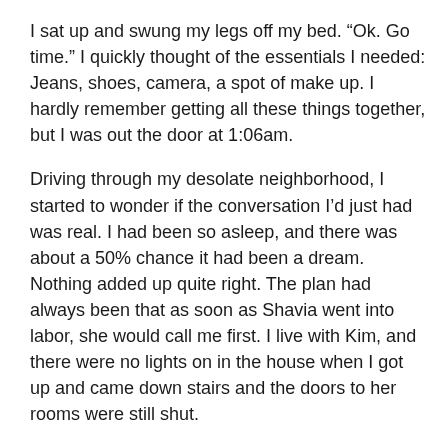I sat up and swung my legs off my bed. “Ok. Go time.” I quickly thought of the essentials I needed: Jeans, shoes, camera, a spot of make up. I hardly remember getting all these things together, but I was out the door at 1:06am.
Driving through my desolate neighborhood, I started to wonder if the conversation I’d just had was real. I had been so asleep, and there was about a 50% chance it had been a dream. Nothing added up quite right. The plan had always been that as soon as Shavia went into labor, she would call me first. I live with Kim, and there were no lights on in the house when I got up and came down stairs and the doors to her rooms were still shut.
What if I get all the way to the hospital and none of this was real?